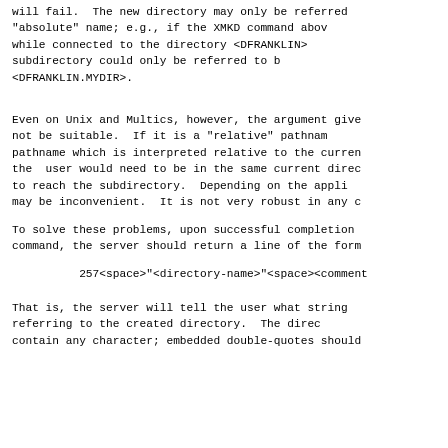will fail.  The new directory may only be referred to by its "absolute" name; e.g., if the XMKD command above was given while connected to the directory <DFRANKLIN>, the new subdirectory could only be referred to by the name <DFRANKLIN.MYDIR>.
Even on Unix and Multics, however, the argument given to MKD may not be suitable.  If it is a "relative" pathname, i.e., a pathname which is interpreted relative to the current directory, then the user would need to be in the same current directory in order to reach the subdirectory.  Depending on the application, this may be inconvenient.  It is not very robust in any case.
To solve these problems, upon successful completion of the MKD command, the server should return a line of the form:
257<space>"<directory-name>"<space><comment>
That is, the server will tell the user what string to use when referring to the created directory.  The directory name can contain any character; embedded double-quotes should be